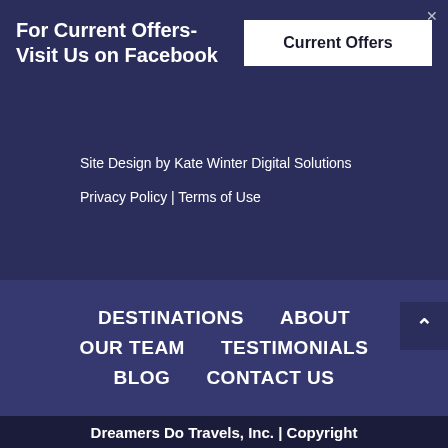For Current Offers- Visit Us on Facebook
Current Offers
Site Design by Kate Winter Digital Solutions
Privacy Policy | Terms of Use
DESTINATIONS   ABOUT
OUR TEAM   TESTIMONIALS
BLOG   CONTACT US
Dreamers Do Travels, Inc. | Copyright